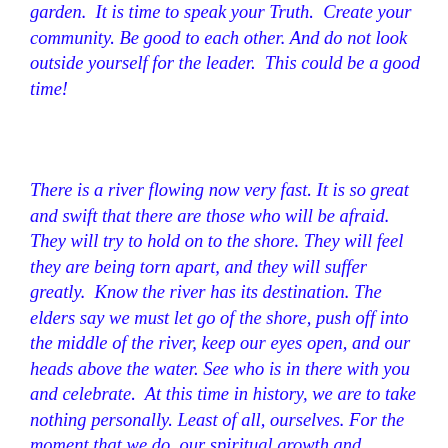garden.  It is time to speak your Truth.  Create your community. Be good to each other. And do not look outside yourself for the leader.  This could be a good time!
There is a river flowing now very fast. It is so great and swift that there are those who will be afraid. They will try to hold on to the shore. They will feel they are being torn apart, and they will suffer greatly.  Know the river has its destination. The elders say we must let go of the shore, push off into the middle of the river, keep our eyes open, and our heads above the water. See who is in there with you and celebrate.  At this time in history, we are to take nothing personally. Least of all, ourselves. For the moment that we do, our spiritual growth and